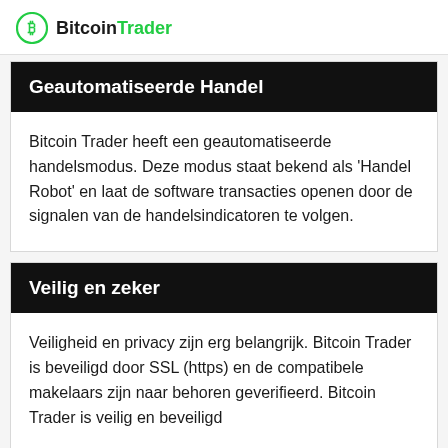BitcoinTrader
Geautomatiseerde Handel
Bitcoin Trader heeft een geautomatiseerde handelsmodus. Deze modus staat bekend als 'Handel Robot' en laat de software transacties openen door de signalen van de handelsindicatoren te volgen.
Veilig en zeker
Veiligheid en privacy zijn erg belangrijk. Bitcoin Trader is beveiligd door SSL (https) en de compatibele makelaars zijn naar behoren geverifieerd. Bitcoin Trader is veilig en beveiligd